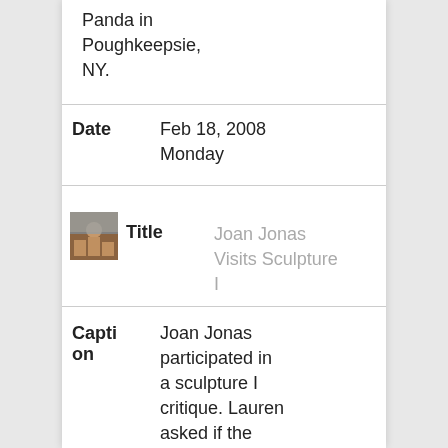Panda in Poughkeepsie, NY.
Date
Feb 18, 2008 Monday
[Figure (photo): Small thumbnail photo of people in a room]
Title
Joan Jonas Visits Sculpture I
Caption
Joan Jonas participated in a sculpture I critique. Lauren asked if the class could be photographed with Joan. See the previous two entries.